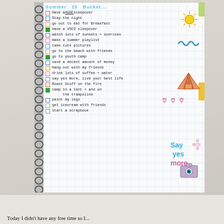[Figure (photo): Photo of a handwritten spiral-bound notebook showing a Summer 20 bucket list with checkboxes. Items include: Have a HUGE sleepover, Stay the night, go out to eat for Breakfast, have a VSCO sleepover, watch lots of sunsets + sunrises, make a summer playlist, take cute pictures, go to the beach with friends, go to youth camp, save a decent amount of money, hang out with my friends, drink lots of coffee + water, say yes more live your best life, Roast Stuff on the fire, camp in a tent + and on the trampoline, paint my legs, get icecream with friends, start a scrapbook. Decorative doodles include a sun, waves, tent, hearts, 'say yes more' text, and a camera.]
Today I didn't have any free time so I...